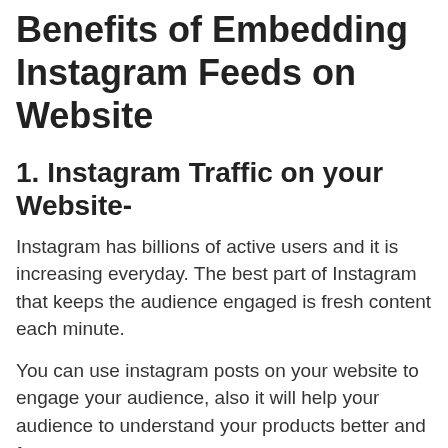Benefits of Embedding Instagram Feeds on Website
1. Instagram Traffic on your Website-
Instagram has billions of active users and it is increasing everyday. The best part of Instagram that keeps the audience engaged is fresh content each minute.
You can use instagram posts on your website to engage your audience, also it will help your audience to understand your products better and faster.
Social media posts are very important to increase